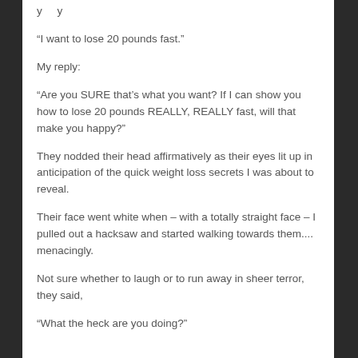“I want to lose 20 pounds fast.”
My reply:
“Are you SURE that’s what you want? If I can show you how to lose 20 pounds REALLY, REALLY fast, will that make you happy?”
They nodded their head affirmatively as their eyes lit up in anticipation of the quick weight loss secrets I was about to reveal.
Their face went white when – with a totally straight face – I pulled out a hacksaw and started walking towards them.... menacingly.
Not sure whether to laugh or to run away in sheer terror, they said,
“What the heck are you doing?”